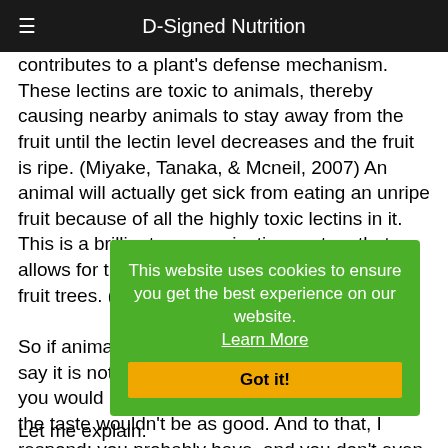D-Signed Nutrition
contributes to a plant's defense mechanism. These lectins are toxic to animals, thereby causing nearby animals to stay away from the fruit until the lectin level decreases and the fruit is ripe. (Miyake, Tanaka, & Mcneil, 2007) An animal will actually get sick from eating an unripe fruit because of all the highly toxic lectins in it. This is a brilliant communication system that allows for the continuous spread and growth of fruit trees. (Gundry MD, 2018)

So if animals get sick from unripe fruit, what's to say it is not hurting you? Some may argue that you would never eat an under-ripe fruit because the taste wouldn't be as good. And to that, I respond: you probably have, and you don't even know it.
[Figure (screenshot): Green cookie consent banner overlay with text 'This website uses cookies to ensure you get the best experience on our website.' and a 'Learn More' link, plus a yellow/orange 'Got it!' button bar.]
Let me explain.